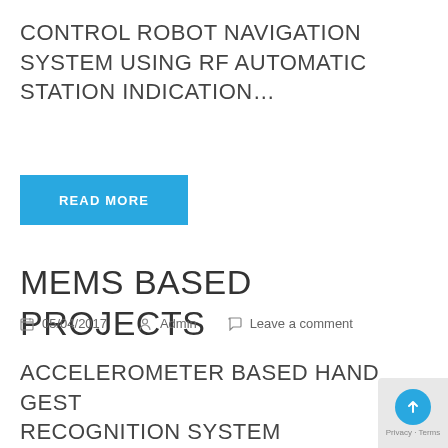CONTROL ROBOT NAVIGATION SYSTEM USING RF AUTOMATIC STATION INDICATION…
READ MORE
MEMS BASED PROJECTS
05/04/2017  Admin  Leave a comment
ACCELEROMETER BASED HAND GESTURE RECOGNITION SYSTEM AUTOMATIC FALL